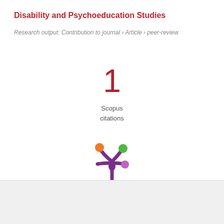Disability and Psychoeducation Studies
Research output: Contribution to journal › Article › peer-review
1
Scopus
citations
[Figure (logo): Altmetric logo — stylized splash/asterisk shape in purple with colored dots (orange, green, purple)]
Overview
Fingerprint